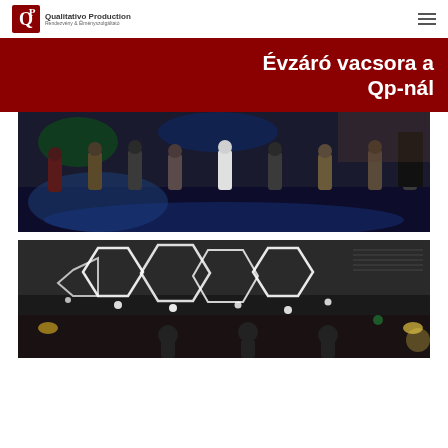Qualitativo Production
Évzáró vacsora a Qp-nál
[Figure (photo): People dancing in a dimly lit hall with blue and green stage lighting]
[Figure (photo): Restaurant interior with modern geometric LED ceiling lights and people seated at tables]